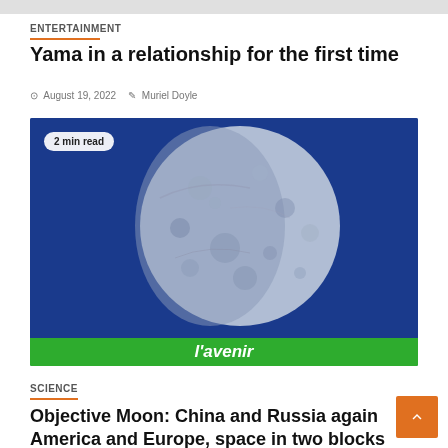ENTERTAINMENT
Yama in a relationship for the first time
August 19, 2022  Muriel Doyle
[Figure (photo): Close-up photograph of the Moon against a deep blue sky, with a green banner at the bottom reading l'avenir. A badge reading '2 min read' is overlaid in the top-left.]
SCIENCE
Objective Moon: China and Russia against America and Europe, space in two blocks